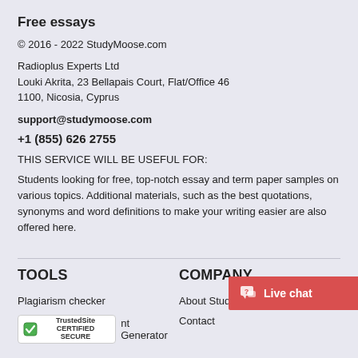Free essays
© 2016 - 2022 StudyMoose.com
Radioplus Experts Ltd
Louki Akrita, 23 Bellapais Court, Flat/Office 46
1100, Nicosia, Cyprus
support@studymoose.com
+1 (855) 626 2755
THIS SERVICE WILL BE USEFUL FOR:
Students looking for free, top-notch essay and term paper samples on various topics. Additional materials, such as the best quotations, synonyms and word definitions to make your writing easier are also offered here.
TOOLS
COMPANY
Plagiarism checker
About StudyMoose
nt Generator
Contact
[Figure (logo): TrustedSite Certified Secure badge]
[Figure (other): Live chat button with chat icon]